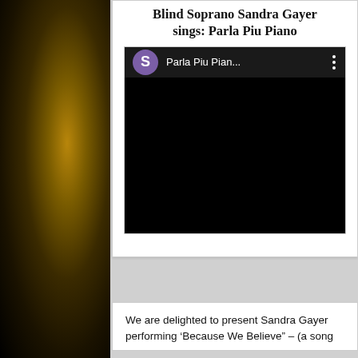Blind Soprano Sandra Gayer sings: Parla Piu Piano
[Figure (screenshot): Screenshot of a music player or video interface showing a purple circle with letter S, the title 'Parla Piu Pian...' and a three-dot menu icon, with a black video area below.]
We are delighted to present Sandra Gayer performing 'Because We Believe' – (a song